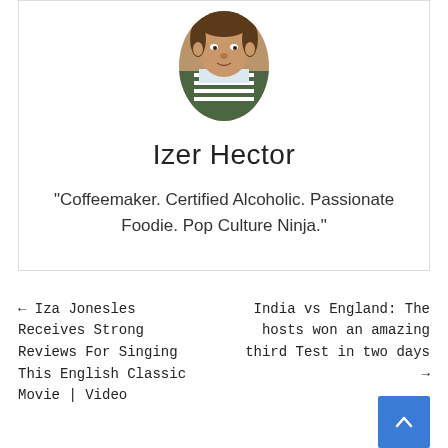[Figure (photo): Portrait photo of Izer Hector, a man wearing a striped shirt and jacket, oval/portrait style crop]
Izer Hector
"Coffeemaker. Certified Alcoholic. Passionate Foodie. Pop Culture Ninja."
← Iza Jonesles Receives Strong Reviews For Singing This English Classic Movie | Video
India vs England: The hosts won an amazing third Test in two days →